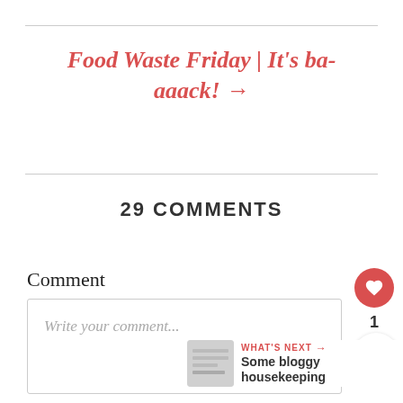Food Waste Friday | It's ba-aaack! →
29 COMMENTS
Comment
Write your comment...
1
WHAT'S NEXT → Some bloggy housekeeping